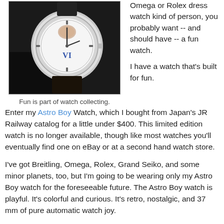[Figure (photo): Close-up photo of a watch with a decorative dial showing Roman numeral VI, silver case, dark leather strap, resting on a dark surface]
Fun is part of watch collecting.
Omega or Rolex dress watch kind of person, you probably want -- and should have -- a fun watch.
I have a watch that's built for fun. Enter my Astro Boy Watch, which I bought from Japan's JR Railway catalog for a little under $400. This limited edition watch is no longer available, though like most watches you'll eventually find one on eBay or at a second hand watch store.
I've got Breitling, Omega, Rolex, Grand Seiko, and some minor planets, too, but I'm going to be wearing only my Astro Boy watch for the foreseeable future. The Astro Boy watch is playful. It's colorful and curious. It's retro, nostalgic, and 37 mm of pure automatic watch joy.